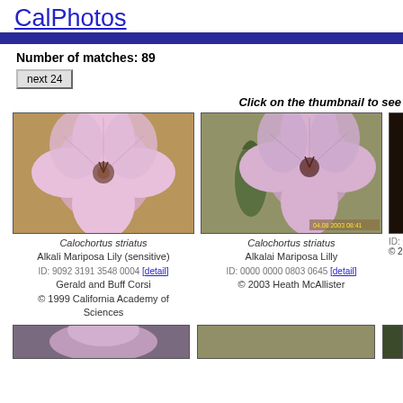CalPhotos
Number of matches: 89
next 24
Click on the thumbnail to see
[Figure (photo): Photo of Calochortus striatus (Alkali Mariposa Lily) - pink flower, close-up]
Calochortus striatus
Alkali Mariposa Lily (sensitive)
ID: 9092 3191 3548 0004 [detail]
Gerald and Buff Corsi
© 1999 California Academy of Sciences
[Figure (photo): Photo of Calochortus striatus (Alkalai Mariposa Lilly) - pink flower with bud]
Calochortus striatus
Alkalai Mariposa Lilly
ID: 0000 0000 0803 0645 [detail]
© 2003 Heath McAllister
[Figure (photo): Partial photo (cropped, dark background)]
ID:
© 20
[Figure (photo): Bottom row partial flower photos]
[Figure (photo): Bottom row second photo]
[Figure (photo): Bottom row third partial]